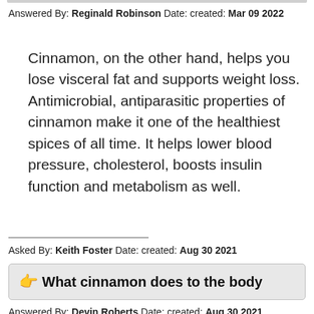Answered By: Reginald Robinson Date: created: Mar 09 2022
Cinnamon, on the other hand, helps you lose visceral fat and supports weight loss. Antimicrobial, antiparasitic properties of cinnamon make it one of the healthiest spices of all time. It helps lower blood pressure, cholesterol, boosts insulin function and metabolism as well.
Asked By: Keith Foster Date: created: Aug 30 2021
What cinnamon does to the body
Answered By: Devin Roberts Date: created: Aug 30 2021
At the end of the day, cinnamon is one of the most delicious and healthiest